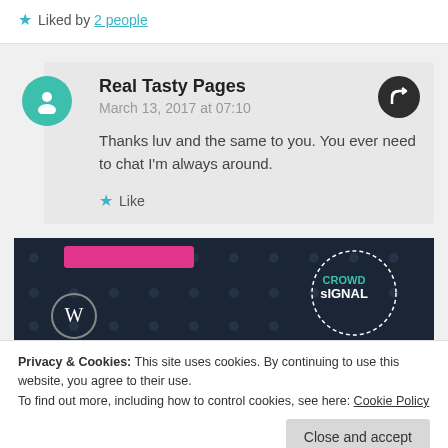★ Liked by 2 people
Real Tasty Pages
March 13, 2017 at 07:10
Thanks luv and the same to you. You ever need to chat I'm always around.
★ Like
[Figure (screenshot): Dark blue advertisement banner with pink bar, dot pattern, WordPress logo and Crowd Signal circular logo with dashed border]
Privacy & Cookies: This site uses cookies. By continuing to use this website, you agree to their use.
To find out more, including how to control cookies, see here: Cookie Policy
Close and accept